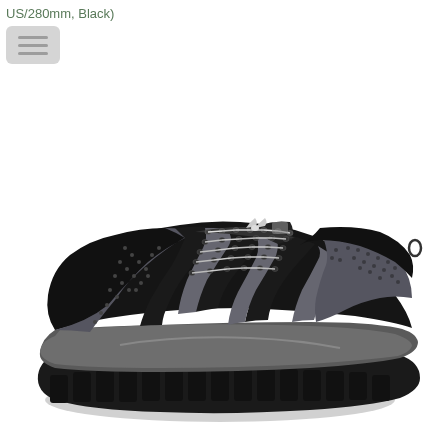[Figure (photo): Product photo of a black hiking/trail shoe with gray mesh accents, lace-up front, chunky rubber outsole with lugs, photographed at a three-quarter angle on a white background. Overlay text in top-left reads 'US/280mm, Black)' with a hamburger menu icon below it.]